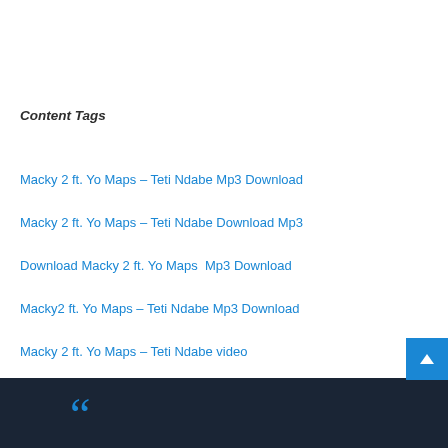Content Tags
Macky 2 ft. Yo Maps – Teti Ndabe Mp3 Download
Macky 2 ft. Yo Maps – Teti Ndabe Download Mp3
Download Macky 2 ft. Yo Maps  Mp3 Download
Macky2 ft. Yo Maps – Teti Ndabe Mp3 Download
Macky 2 ft. Yo Maps – Teti Ndabe video
[Figure (screenshot): Dark footer area with blue quotation mark graphic and blue scroll-to-top button with upward arrow]